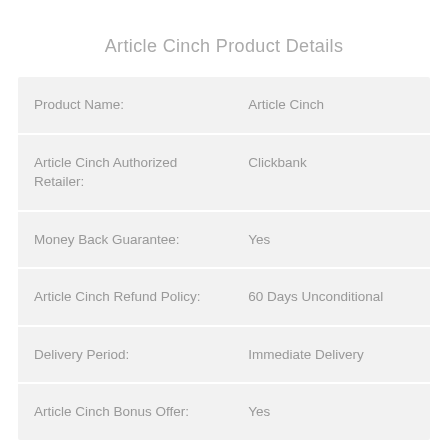Article Cinch Product Details
|  |  |
| --- | --- |
| Product Name: | Article Cinch |
| Article Cinch Authorized Retailer: | Clickbank |
| Money Back Guarantee: | Yes |
| Article Cinch Refund Policy: | 60 Days Unconditional |
| Delivery Period: | Immediate Delivery |
| Article Cinch Bonus Offer: | Yes |